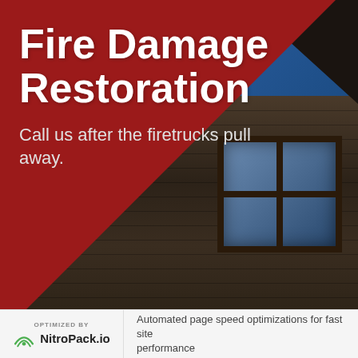[Figure (photo): Fire-damaged wooden building with charred roof edges against blue sky, worn wood siding and window visible. Red triangle overlay covers left and lower portion of image.]
Fire Damage Restoration
Call us after the firetrucks pull away.
OPTIMIZED BY NitroPack.io  Automated page speed optimizations for fast site performance